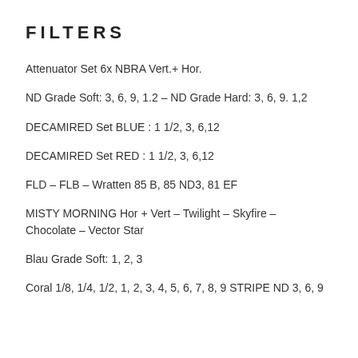FILTERS
Attenuator Set 6x NBRA Vert.+ Hor.
ND Grade Soft: 3, 6, 9, 1.2 – ND Grade Hard: 3, 6, 9. 1,2
DECAMIRED Set BLUE : 1 1/2, 3, 6,12
DECAMIRED Set RED : 1 1/2, 3, 6,12
FLD – FLB – Wratten 85 B, 85 ND3, 81 EF
MISTY MORNING Hor + Vert – Twilight – Skyfire – Chocolate – Vector Star
Blau Grade Soft: 1, 2, 3
Coral 1/8, 1/4, 1/2, 1, 2, 3, 4, 5, 6, 7, 8, 9 STRIPE ND 3, 6, 9